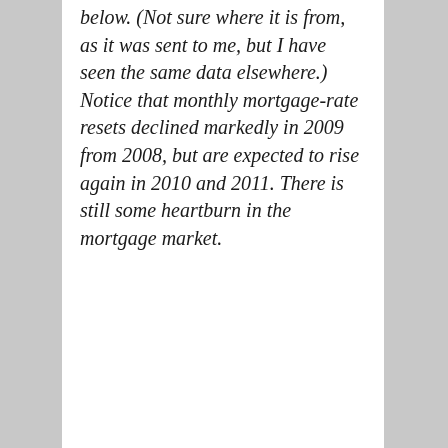below. (Not sure where it is from, as it was sent to me, but I have seen the same data elsewhere.) Notice that monthly mortgage-rate resets declined markedly in 2009 from 2008, but are expected to rise again in 2010 and 2011. There is still some heartburn in the mortgage market.